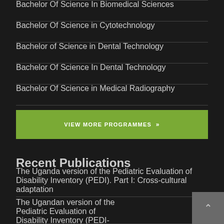Bachelor Of Science In Biomedical Sciences
Bachelor Of Science in Cytotechnology
Bachelor of Science in Dental Technology
Bachelor Of Science In Dental Technology
Bachelor Of Science in Medical Radiography
VIEW MORE PROGRAMMES »
Recent Publications
The Uganda version of the Pediatric Evaluation of Disability Inventory (PEDI). Part I: Cross-cultural adaptation
The Ugandan version of the Pediatric Evaluation of Disability Inventory (PEDI-UG). Part II: Psychometric properties